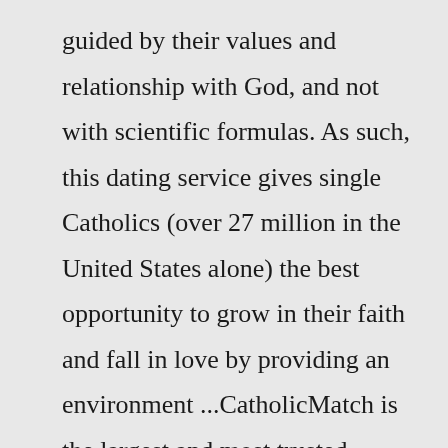guided by their values and relationship with God, and not with scientific formulas. As such, this dating service gives single Catholics (over 27 million in the United States alone) the best opportunity to grow in their faith and fall in love by providing an environment ...CatholicMatch is the largest and most trusted Catholic dating site in the world. Get Started For Free! Once my annulment was final I joined Catholic